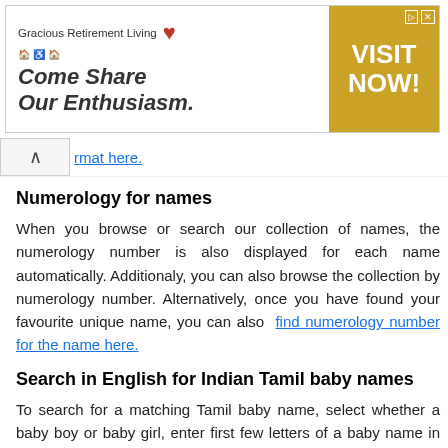[Figure (other): Advertisement banner for Gracious Retirement Living with tagline 'Come Share Our Enthusiasm.' and a gold 'VISIT NOW!' button on the right.]
...you can also download free Tamil baby names eBook in ... format here.
Numerology for names
When you browse or search our collection of names, the numerology number is also displayed for each name automatically. Additionaly, you can also browse the collection by numerology number. Alternatively, once you have found your favourite unique name, you can also find numerology number for the name here.
Search in English for Indian Tamil baby names
To search for a matching Tamil baby name, select whether a baby boy or baby girl, enter first few letters of a baby name in the search box above and click 'SEARCH'.
Search in Tamil for Indian Tamil baby names
To search for a matching baby name in Tamil, you have several options to enter Tamil names in the search box...